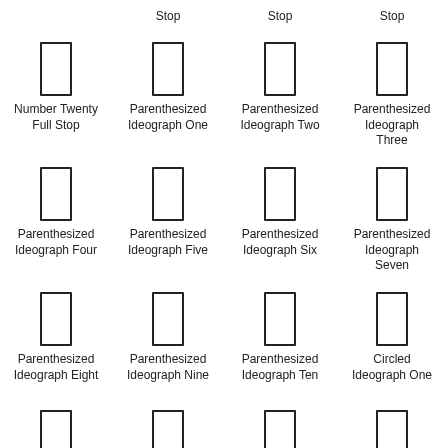Stop Stop Stop
Number Twenty Full Stop
Parenthesized Ideograph One
Parenthesized Ideograph Two
Parenthesized Ideograph Three
Parenthesized Ideograph Four
Parenthesized Ideograph Five
Parenthesized Ideograph Six
Parenthesized Ideograph Seven
Parenthesized Ideograph Eight
Parenthesized Ideograph Nine
Parenthesized Ideograph Ten
Circled Ideograph One